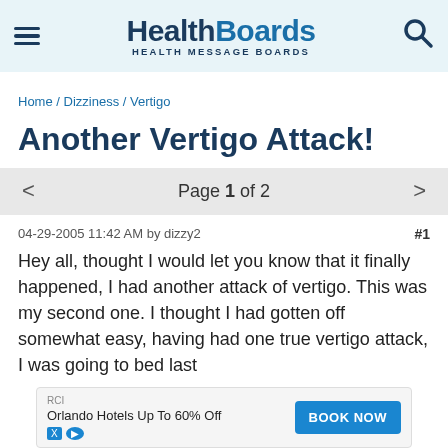HealthBoards — HEALTH MESSAGE BOARDS
Home / Dizziness / Vertigo
Another Vertigo Attack!
Page 1 of 2
04-29-2005 11:42 AM by dizzy2   #1
Hey all, thought I would let you know that it finally happened, I had another attack of vertigo. This was my second one. I thought I had gotten off somewhat easy, having had one true vertigo attack, I was going to bed last
[Figure (other): Advertisement banner: RCI — Orlando Hotels Up To 60% Off — BOOK NOW button]